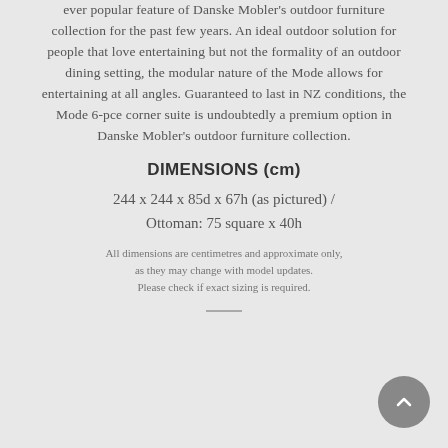ever popular feature of Danske Mobler's outdoor furniture collection for the past few years. An ideal outdoor solution for people that love entertaining but not the formality of an outdoor dining setting, the modular nature of the Mode allows for entertaining at all angles. Guaranteed to last in NZ conditions, the Mode 6-pce corner suite is undoubtedly a premium option in Danske Mobler's outdoor furniture collection.
DIMENSIONS (cm)
244 x 244 x 85d x 67h (as pictured) / Ottoman: 75 square x 40h
All dimensions are centimetres and approximate only, as they may change with model updates. Please check if exact sizing is required.